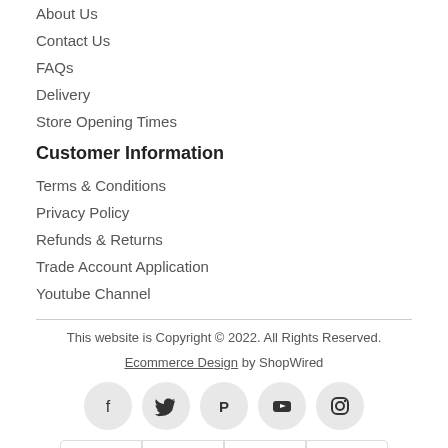About Us
Contact Us
FAQs
Delivery
Store Opening Times
Customer Information
Terms & Conditions
Privacy Policy
Refunds & Returns
Trade Account Application
Youtube Channel
This website is Copyright © 2022. All Rights Reserved. Ecommerce Design by ShopWired
[Figure (infographic): Social media icons: Facebook, Twitter, Pinterest, YouTube, Instagram in grey circles]
[Figure (infographic): Payment method logos: PayPal, Mastercard, Visa, Maestro]